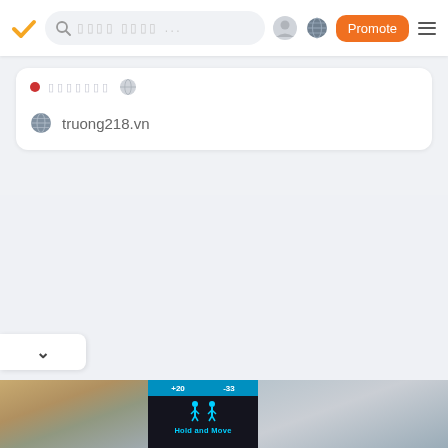Navigation bar with logo, search, profile, globe, Promote button, hamburger menu
truong218.vn
[Figure (screenshot): Bottom image strip showing trees/forest on the left, a dark game UI panel in the center with 'Hold and Move' text and cyan icons, and a winter bare-tree landscape on the right]
Hold and Move